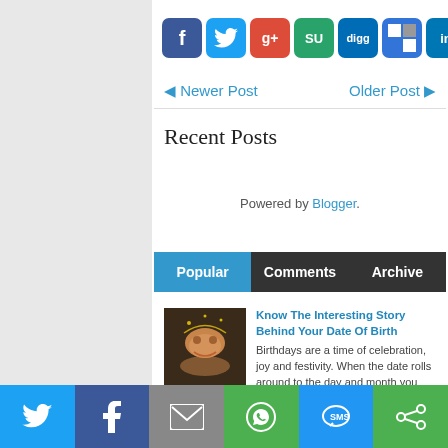[Figure (infographic): Row of social media sharing icons: Facebook, Twitter, Google+, StumbleUpon, Digg, Delicious, LinkedIn, Reddit, Chat]
◄ Newer Post   Older Post ►
Recent Posts
Powered by Blogger.
Popular  Comments  Archive
[Figure (photo): Thumbnail image for blog post about birthdays]
Know The Interesting Story Behind Your Date Of Birth
Birthdays are a time of celebration, joy and festivity.  When the date rolls around to the day and month you were born, another year
[Figure (infographic): Bottom share bar with Twitter, Facebook, Email, WhatsApp, SMS, and other sharing buttons]